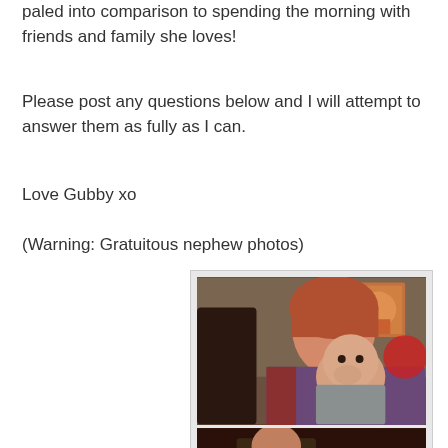paled into comparison to spending the morning with friends and family she loves!
Please post any questions below and I will attempt to answer them as fully as I can.
Love Gubby xo
(Warning: Gratuitous nephew photos)
[Figure (photo): A woman holding and looking at a baby who is chewing on their hand, indoor setting with artwork visible in background. Below is a partial second photo showing red background.]